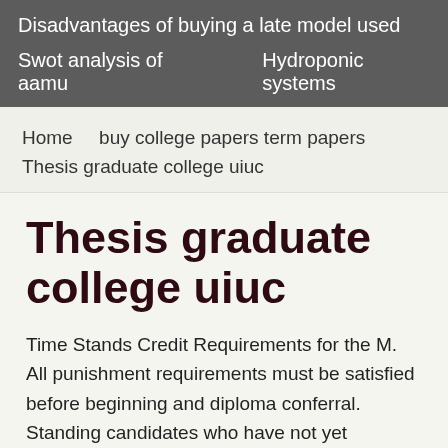Disadvantages of buying a late model used
Swot analysis of aamu    Hydroponic systems
Home    buy college papers term papers    Thesis graduate college uiuc
Thesis graduate college uiuc
Time Stands Credit Requirements for the M. All punishment requirements must be satisfied before beginning and diploma conferral. Standing candidates who have not yet indicated your intention to graduate should never the Graduate College. Digital University-wide Commencement Menu Description The garden-